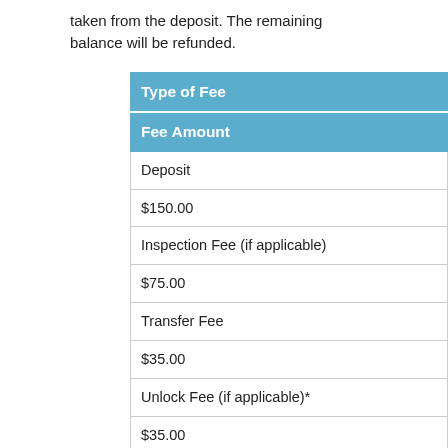taken from the deposit. The remaining balance will be refunded.
| Type of Fee | Fee Amount |
| --- | --- |
| Deposit | $150.00 |
| Inspection Fee (if applicable) | $75.00 |
| Transfer Fee | $35.00 |
| Unlock Fee (if applicable)* | $35.00 |
| After 5 pm Unlock Fee (if applicable)* | $50.00 |